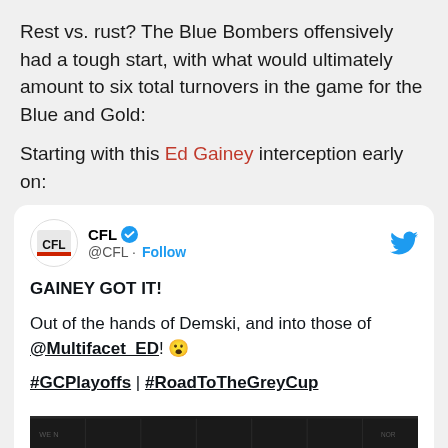Rest vs. rust? The Blue Bombers offensively had a tough start, with what would ultimately amount to six total turnovers in the game for the Blue and Gold:
Starting with this Ed Gainey interception early on:
[Figure (screenshot): Embedded tweet from @CFL with verified badge and Twitter bird icon. Tweet text: 'GAINEY GOT IT! Out of the hands of Demski, and into those of @Multifacet_ED! 😮 #GCPlayoffs | #RoadToTheGreyCup'. Includes a partial football field image at the bottom.]